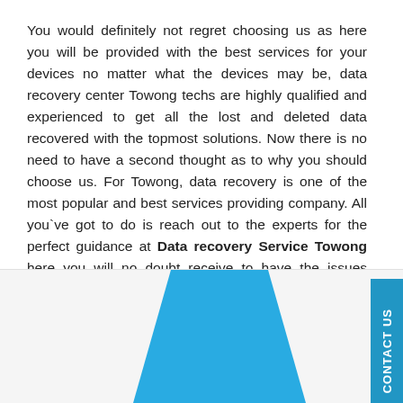You would definitely not regret choosing us as here you will be provided with the best services for your devices no matter what the devices may be, data recovery center Towong techs are highly qualified and experienced to get all the lost and deleted data recovered with the topmost solutions. Now there is no need to have a second thought as to why you should choose us. For Towong, data recovery is one of the most popular and best services providing company. All you've got to do is reach out to the experts for the perfect guidance at Data recovery Service Towong here you will no doubt receive to have the issues resolved within the least time possible and you will be find complete satisfaction with the services provided.
[Figure (illustration): Blue trapezoid shape at the bottom of the page, partially visible, suggesting a graphic or logo element.]